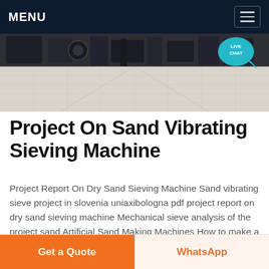MENU
[Figure (photo): Top-down view of industrial machinery/equipment on a tiled floor with a live chat button overlay]
Project On Sand Vibrating Sieving Machine
Project Report On Dry Sand Sieving Machine Sand vibrating sieve project in slovenia uniaxibologna pdf project report on dry sand sieving machine Mechanical sieve analysis of the project sand Artificial Sand Making Machines How to make a heavy vibrating sieve for mining in southafrica stone crusher slovenia CPY manufacturers
Get a Quote | WhatsApp